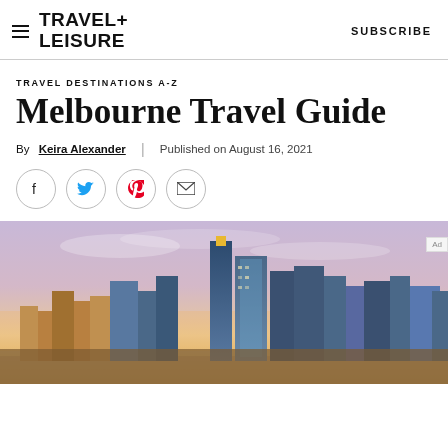TRAVEL+ LEISURE  |  SUBSCRIBE
TRAVEL DESTINATIONS A-Z
Melbourne Travel Guide
By Keira Alexander | Published on August 16, 2021
[Figure (infographic): Social sharing icons: Facebook, Twitter, Pinterest, Email]
[Figure (photo): Aerial/panoramic cityscape photo of Melbourne skyline at dusk/sunset with purple and golden sky tones and city skyscrapers]